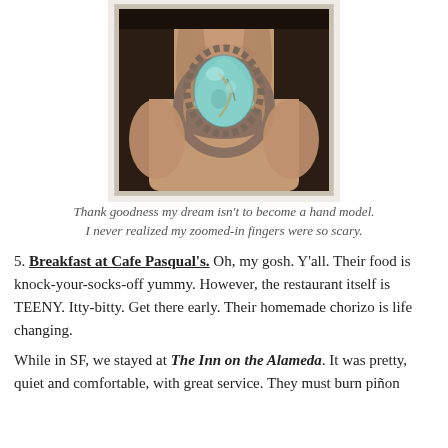[Figure (photo): Close-up photo of a hand wearing a turquoise and silver ring with a twisted rope-style band setting, photographed against a dark background.]
Thank goodness my dream isn't to become a hand model. I never realized my zoomed-in fingers were so scary.
5. Breakfast at Cafe Pasqual's. Oh, my gosh. Y'all. Their food is knock-your-socks-off yummy. However, the restaurant itself is TEENY. Itty-bitty. Get there early. Their homemade chorizo is life changing.
While in SF, we stayed at The Inn on the Alameda. It was pretty, quiet and comfortable, with great service. They must burn piñon